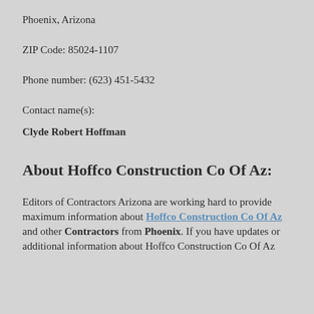Phoenix, Arizona
ZIP Code: 85024-1107
Phone number: (623) 451-5432
Contact name(s):
Clyde Robert Hoffman
About Hoffco Construction Co Of Az:
Editors of Contractors Arizona are working hard to provide maximum information about Hoffco Construction Co Of Az and other Contractors from Phoenix. If you have updates or additional information about Hoffco Construction Co Of Az